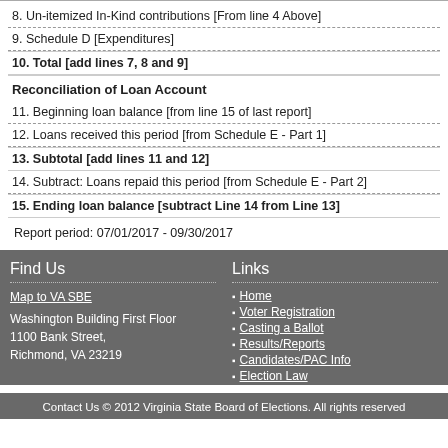8. Un-itemized In-Kind contributions [From line 4 Above]
9. Schedule D [Expenditures]
10. Total [add lines 7, 8 and 9]
Reconciliation of Loan Account
11. Beginning loan balance [from line 15 of last report]
12. Loans received this period [from Schedule E - Part 1]
13. Subtotal [add lines 11 and 12]
14. Subtract: Loans repaid this period [from Schedule E - Part 2]
15. Ending loan balance [subtract Line 14 from Line 13]
Report period: 07/01/2017 - 09/30/2017
Find Us | Map to VA SBE | Washington Building First Floor 1100 Bank Street, Richmond, VA 23219 | Links | Home | Voter Registration | Casting a Ballot | Results/Reports | Candidates/PAC Info | Election Law | Contact Us © 2012 Virginia State Board of Elections. All rights reserved